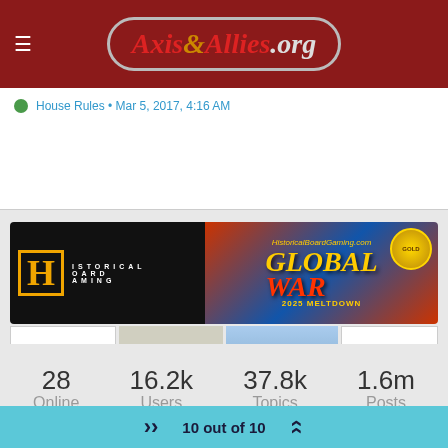Axis & Allies.org
House Rules • Mar 5, 2017, 4:16 AM
[Figure (photo): Historical Board Gaming - Global War 2025 Meltdown advertisement banner]
[Figure (photo): Row of advertiser banners: I Will Never Grow Up, Combat Miniatures, Axis & Allies Boardgaming Custom Painted Miniatures, Dean's Army Guys]
28 Online
16.2k Users
37.8k Topics
1.6m Posts
Powered by NodeBB | Contributors
10 out of 10